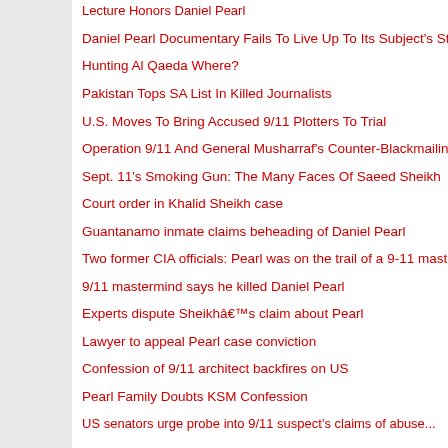Lecture Honors Daniel Pearl
Daniel Pearl Documentary Fails To Live Up To Its Subject's Standa...
Hunting Al Qaeda Where?
Pakistan Tops SA List In Killed Journalists
U.S. Moves To Bring Accused 9/11 Plotters To Trial
Operation 9/11 And General Musharraf's Counter-Blackmailing
Sept. 11's Smoking Gun: The Many Faces Of Saeed Sheikh
Court order in Khalid Sheikh case
Guantanamo inmate claims beheading of Daniel Pearl
Two former CIA officials: Pearl was on the trail of a 9-11 mastermin...
9/11 mastermind says he killed Daniel Pearl
Experts dispute Sheikhâ€™s claim about Pearl
Lawyer to appeal Pearl case conviction
Confession of 9/11 architect backfires on US
Pearl Family Doubts KSM Confession
US senators urge probe into 9/11 suspect's claims of abuse...